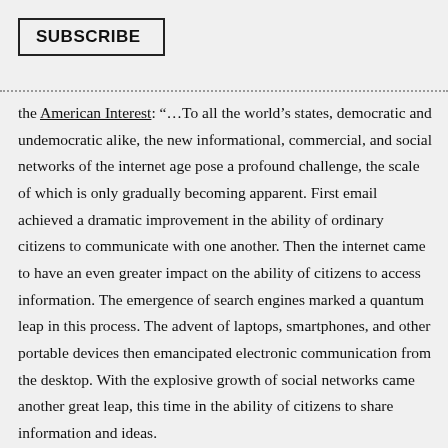SUBSCRIBE
the American Interest: “…To all the world’s states, democratic and undemocratic alike, the new informational, commercial, and social networks of the internet age pose a profound challenge, the scale of which is only gradually becoming apparent. First email achieved a dramatic improvement in the ability of ordinary citizens to communicate with one another. Then the internet came to have an even greater impact on the ability of citizens to access information. The emergence of search engines marked a quantum leap in this process. The advent of laptops, smartphones, and other portable devices then emancipated electronic communication from the desktop. With the explosive growth of social networks came another great leap, this time in the ability of citizens to share information and ideas.
It was not immediately obvious how big a challenge all this